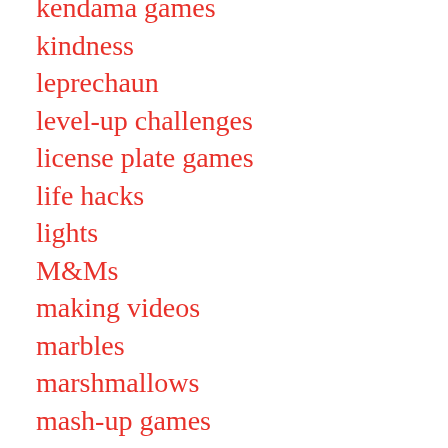kendama games
kindness
leprechaun
level-up challenges
license plate games
life hacks
lights
M&Ms
making videos
marbles
marshmallows
mash-up games
matching games
Melting Marshmallows challenge